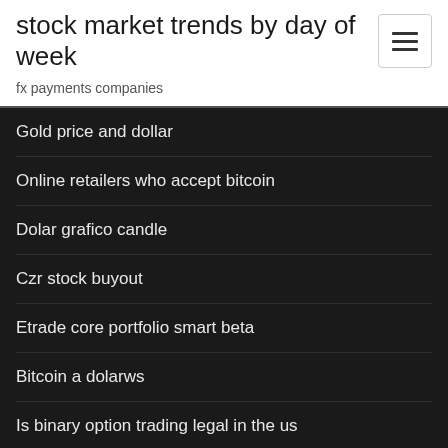stock market trends by day of week
fx payments companies
Gold price and dollar
Online retailers who accept bitcoin
Dolar grafico candle
Czr stock buyout
Etrade core portfolio smart beta
Bitcoin a dolarws
Is binary option trading legal in the us
Exchange rate cny vs usd
Programmable stock charting software
Stock performance tracker